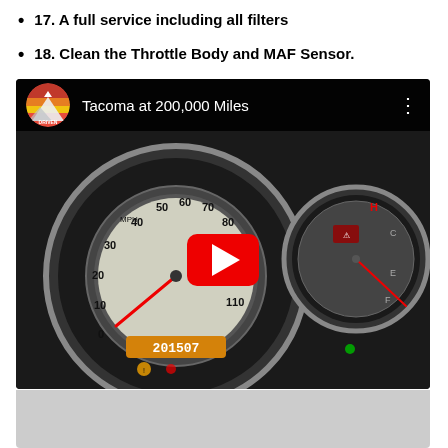17. A full service including all filters
18. Clean the Throttle Body and MAF Sensor.
[Figure (screenshot): YouTube video thumbnail showing Toyota Tacoma dashboard/instrument cluster at 200,000 miles. Speedometer visible with MPH markings and odometer reading. Red play button overlay in center. Channel logo (mountain/sunset circle) in top left. Title reads 'Tacoma at 200,000 Miles'.]